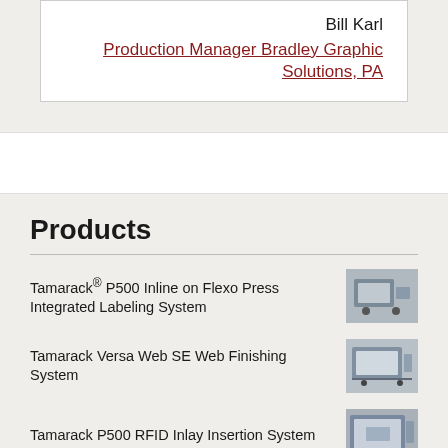Bill Karl
Production Manager Bradley Graphic Solutions, PA
Products
Tamarack® P500 Inline on Flexo Press Integrated Labeling System
Tamarack Versa Web SE Web Finishing System
Tamarack P500 RFID Inlay Insertion System
Tamarack Vista® Inline Window Patching System
Tamarack MVW Offline RFID Inlay Insertion System